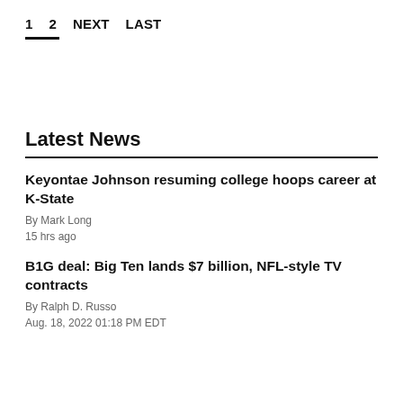1  2  NEXT  LAST
Latest News
Keyontae Johnson resuming college hoops career at K-State
By Mark Long
15 hrs ago
B1G deal: Big Ten lands $7 billion, NFL-style TV contracts
By Ralph D. Russo
Aug. 18, 2022 01:18 PM EDT